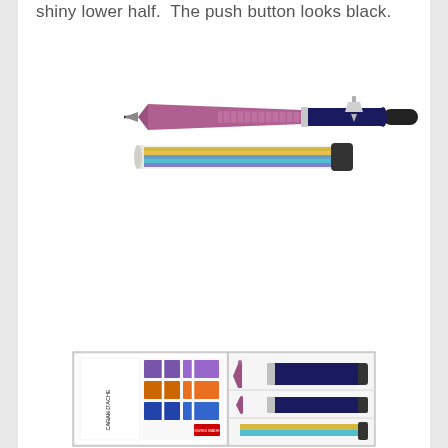shiny lower half.  The push button looks black.
[Figure (photo): Top: a mechanical pencil with a pink/purple matte upper barrel and dark navy blue shiny lower half, silver clip and accents, black push button tip. Below it: a tube of colorful pencil leads (yellow, orange, blue, cyan, purple) with a black cap on the right.]
[Figure (photo): A Caran d'Ache Genius set box open showing: left side has the white box lid with Caran d'Ache branding and a display of colorful pencil swatches in purple, orange, and blue; right side shows the pencil, refill tube, and loose leads in a white tray compartment.]